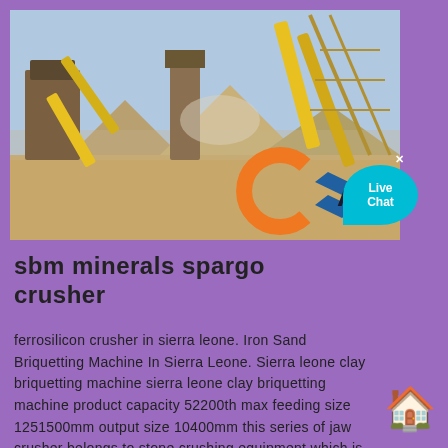[Figure (photo): Outdoor industrial mining/crushing plant with yellow conveyor belts, machinery, and piles of crushed stone/aggregate. AMC logo visible in lower right of photo. Live Chat bubble overlay.]
sbm minerals spargo crusher
ferrosilicon crusher in sierra leone. Iron Sand Briquetting Machine In Sierra Leone. Sierra leone clay briquetting machine sierra leone clay briquetting machine product capacity 52200th max feeding size 1251500mm output size 10400mm this series of jaw crusher belongs to stone crushing equipment which is widely used in the works of metallurgy ...